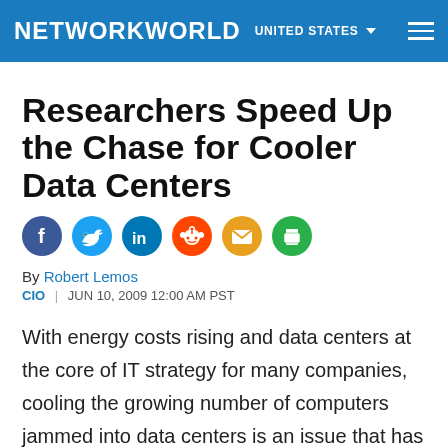NETWORKWORLD   UNITED STATES
Researchers Speed Up the Chase for Cooler Data Centers
By Robert Lemos
CIO  |  JUN 10, 2009 12:00 AM PST
With energy costs rising and data centers at the core of IT strategy for many companies, cooling the growing number of computers jammed into data centers is an issue that has taken center stage.